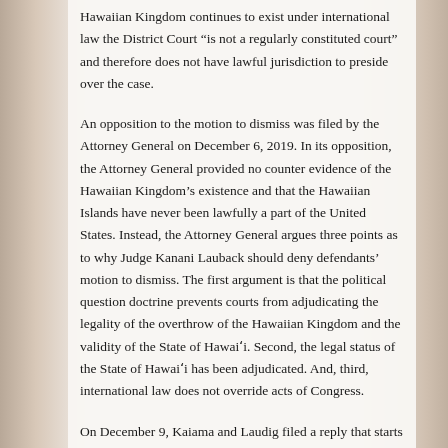Hawaiian Kingdom continues to exist under international law the District Court “is not a regularly constituted court” and therefore does not have lawful jurisdiction to preside over the case.
An opposition to the motion to dismiss was filed by the Attorney General on December 6, 2019. In its opposition, the Attorney General provided no counter evidence of the Hawaiian Kingdom’s existence and that the Hawaiian Islands have never been lawfully a part of the United States. Instead, the Attorney General argues three points as to why Judge Kanani Lauback should deny defendants’ motion to dismiss. The first argument is that the political question doctrine prevents courts from adjudicating the legality of the overthrow of the Hawaiian Kingdom and the validity of the State of Hawaiʻi. Second, the legal status of the State of Hawaiʻi has been adjudicated. And, third, international law does not override acts of Congress.
On December 9, Kaiama and Laudig filed a reply that starts off by stating that the Attorney General’s “statement